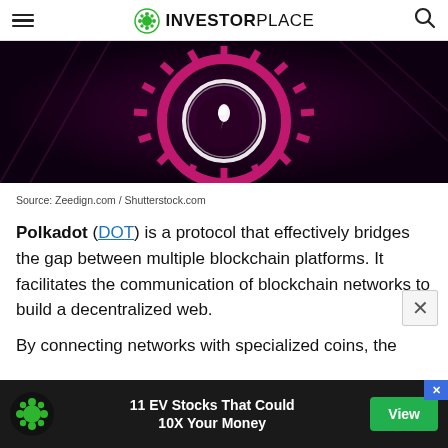INVESTORPLACE
[Figure (illustration): Dark background with a glowing pink/magenta circular gear or ring with a lightning bolt symbol in the center, representing a blockchain or crypto technology visual.]
Source: Zeedign.com / Shutterstock.com
Polkadot (DOT) is a protocol that effectively bridges the gap between multiple blockchain platforms. It facilitates the communication of blockchain networks to build a decentralized web.
By connecting networks with specialized coins, the
[Figure (infographic): Advertisement banner: '11 EV Stocks That Could 10X Your Money' with a green 'View' button and InvestorPlace logo on dark background.]